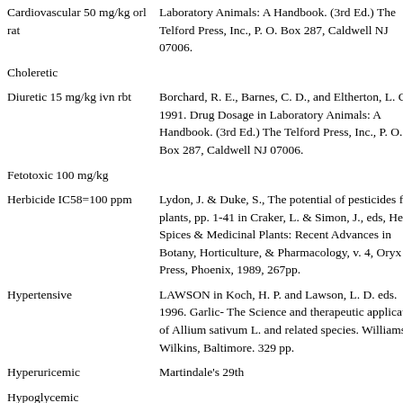| Cardiovascular 50 mg/kg orl rat | Laboratory Animals: A Handbook. (3rd Ed.) The Telford Press, Inc., P. O. Box 287, Caldwell NJ 07006. |
| Choleretic |  |
| Diuretic 15 mg/kg ivn rbt | Borchard, R. E., Barnes, C. D., and Eltherton, L. G. 1991. Drug Dosage in Laboratory Animals: A Handbook. (3rd Ed.) The Telford Press, Inc., P. O. Box 287, Caldwell NJ 07006. |
| Fetotoxic 100 mg/kg |  |
| Herbicide IC58=100 ppm | Lydon, J. & Duke, S., The potential of pesticides from plants, pp. 1-41 in Craker, L. & Simon, J., eds, Herbs, Spices & Medicinal Plants: Recent Advances in Botany, Horticulture, & Pharmacology, v. 4, Oryx Press, Phoenix, 1989, 267pp. |
| Hypertensive | LAWSON in Koch, H. P. and Lawson, L. D. eds. 1996. Garlic- The Science and therapeutic application of Allium sativum L. and related species. Williams & Wilkins, Baltimore. 329 pp. |
| Hyperuricemic | Martindale's 29th |
| Hypoglycemic |  |
| Mucociliary | Martindale's 29th |